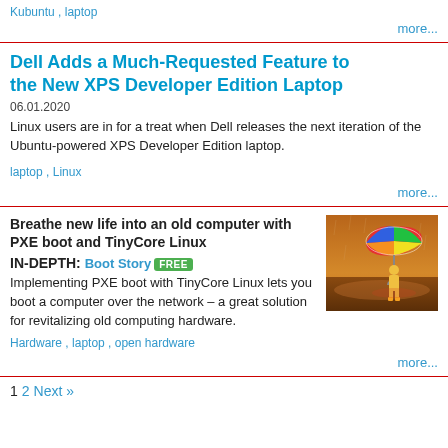Kubuntu , laptop
more...
Dell Adds a Much-Requested Feature to the New XPS Developer Edition Laptop
06.01.2020
Linux users are in for a treat when Dell releases the next iteration of the Ubuntu-powered XPS Developer Edition laptop.
laptop , Linux
more...
Breathe new life into an old computer with PXE boot and TinyCore Linux
[Figure (photo): Person holding colorful umbrella in rain]
IN-DEPTH: Boot Story FREE
Implementing PXE boot with TinyCore Linux lets you boot a computer over the network – a great solution for revitalizing old computing hardware.
Hardware , laptop , open hardware
more...
1 2 Next »